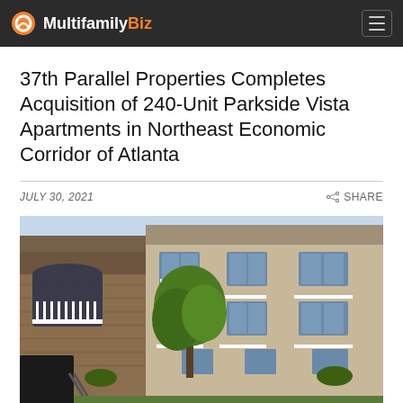MultifamilyBiz
37th Parallel Properties Completes Acquisition of 240-Unit Parkside Vista Apartments in Northeast Economic Corridor of Atlanta
JULY 30, 2021
SHARE
[Figure (photo): Exterior photograph of the Parkside Vista Apartments building: a multi-story brick and beige siding residential apartment complex with balconies, white railings, arched entryways, and green trees in front, photographed during daytime.]